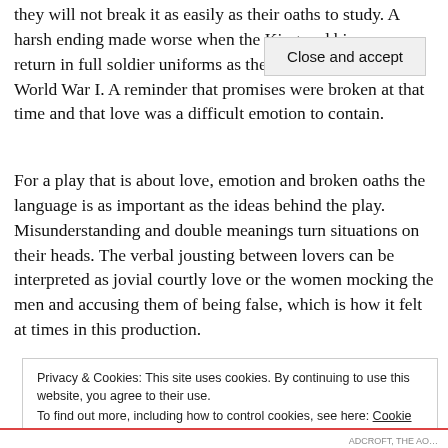they will not break it as easily as their oaths to study. A harsh ending made worse when the King and his men return in full soldier uniforms as they head off to fight in World War I. A reminder that promises were broken at that time and that love was a difficult emotion to contain.
For a play that is about love, emotion and broken oaths the language is as important as the ideas behind the play. Misunderstanding and double meanings turn situations on their heads. The verbal jousting between lovers can be interpreted as jovial courtly love or the women mocking the men and accusing them of being false, which is how it felt at times in this production.
Privacy & Cookies: This site uses cookies. By continuing to use this website, you agree to their use.
To find out more, including how to control cookies, see here: Cookie Policy
Close and accept